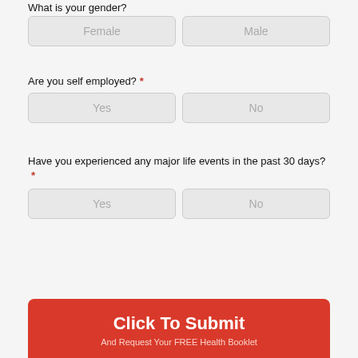What is your gender?
Female
Male
Are you self employed?  *
Yes
No
Have you experienced any major life events in the past 30 days?  *
Yes
No
Click To Submit
And Request Your FREE Health Booklet